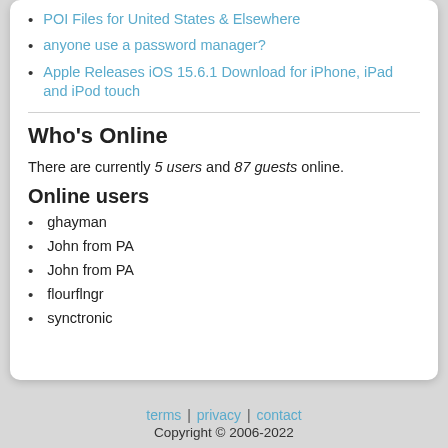POI Files for United States & Elsewhere
anyone use a password manager?
Apple Releases iOS 15.6.1 Download for iPhone, iPad and iPod touch
Who's Online
There are currently 5 users and 87 guests online.
Online users
ghayman
John from PA
John from PA
flourflngr
synctronic
terms | privacy | contact
Copyright © 2006-2022